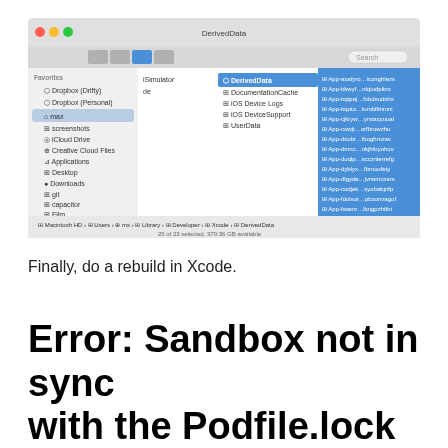[Figure (screenshot): macOS Finder window showing DerivedData folder contents with multiple App- prefixed folders selected in blue on the right panel, sidebar showing Favorites including Dropbox, iCloud Drive, Applications etc., breadcrumb path showing Macintosh HD > Users > mx > Library > Developer > Xcode > DerivedData]
Finally, do a rebuild in Xcode.
Error: Sandbox not in sync with the Podfile.lock